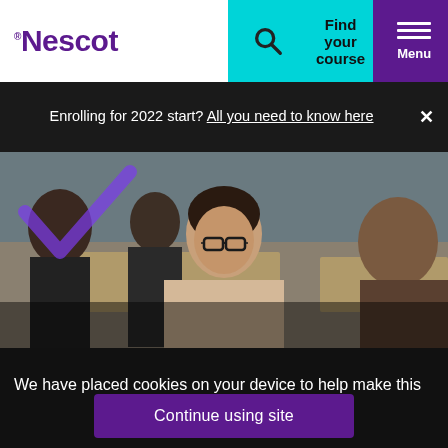[Figure (logo): Nescot college logo in purple with superscript trademark symbol]
Find your course
Menu
Enrolling for 2022 start? All you need to know here
[Figure (photo): Students studying in a classroom, a young woman with glasses writing in the foreground, other students visible in the background]
We have placed cookies on your device to help make this website better. You can view our cookie policy here.
Continue using site